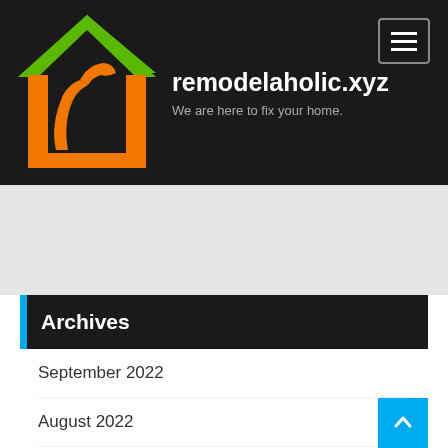remodelaholic.xyz — We are here to fix your home.
Archives
September 2022
August 2022
July 2022
June 2022